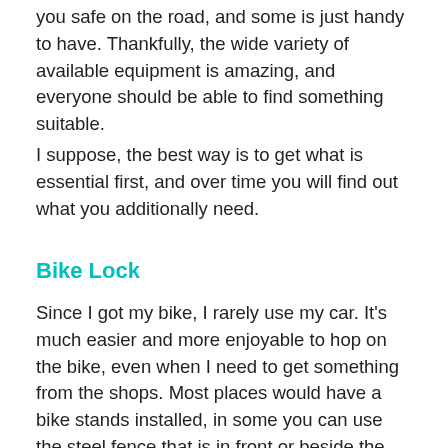you safe on the road, and some is just handy to have. Thankfully, the wide variety of available equipment is amazing, and everyone should be able to find something suitable.
I suppose, the best way is to get what is essential first, and over time you will find out what you additionally need.
Bike Lock
Since I got my bike, I rarely use my car. It's much easier and more enjoyable to hop on the bike, even when I need to get something from the shops. Most places would have a bike stands installed, in some you can use the steel fence that is in front or beside the shop, but please check with the store staff if it is ok to use it. Always ensure that you lock your bike to a solid object that bike can't be moved before the attacker removes the